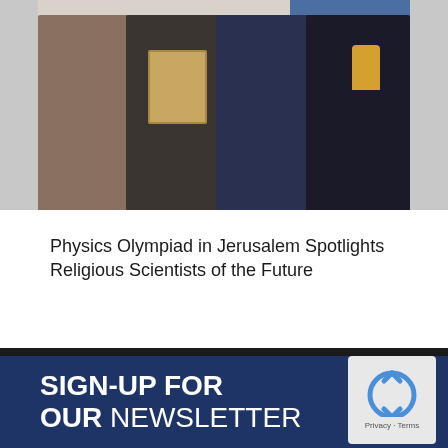[Figure (photo): Group photo of four people (three women and one man) posing together indoors. One person holds a framed certificate/award and one holds a trophy. A blue banner is visible in the background.]
Physics Olympiad in Jerusalem Spotlights Religious Scientists of the Future
SIGN-UP FOR OUR NEWSLETTER